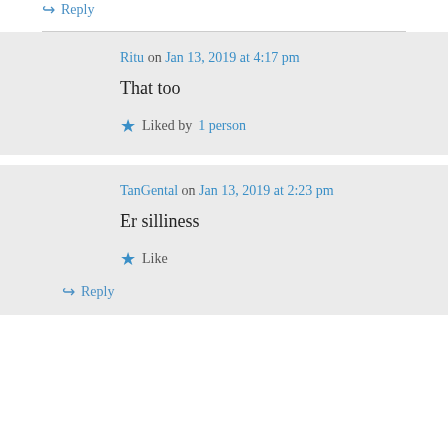↪ Reply
Ritu on Jan 13, 2019 at 4:17 pm
That too
★ Liked by 1 person
TanGental on Jan 13, 2019 at 2:23 pm
Er silliness
★ Like
↪ Reply